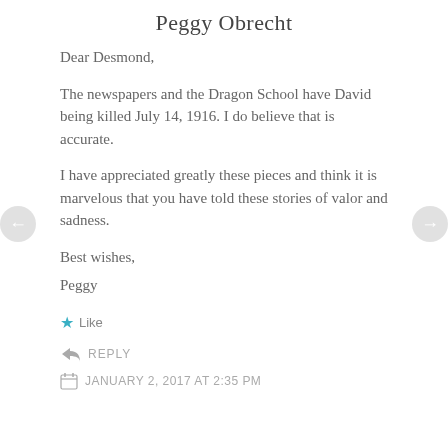Peggy Obrecht
Dear Desmond,
The newspapers and the Dragon School have David being killed July 14, 1916. I do believe that is accurate.
I have appreciated greatly these pieces and think it is marvelous that you have told these stories of valor and sadness.
Best wishes,
Peggy
★ Like
↳ REPLY
JANUARY 2, 2017 AT 2:35 PM